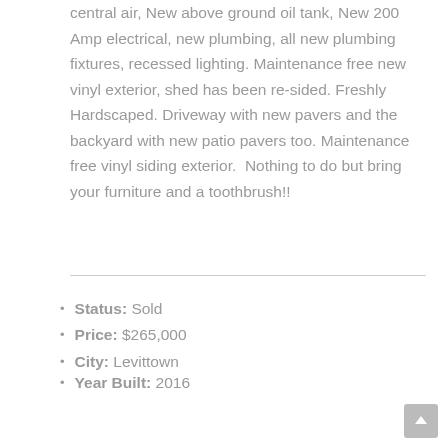central air, New above ground oil tank, New 200 Amp electrical, new plumbing, all new plumbing fixtures, recessed lighting. Maintenance free new vinyl exterior, shed has been re-sided. Freshly Hardscaped. Driveway with new pavers and the backyard with new patio pavers too. Maintenance free vinyl siding exterior. Nothing to do but bring your furniture and a toothbrush!!
Status: Sold
Price: $265,000
City: Levittown
Year Built: 2016